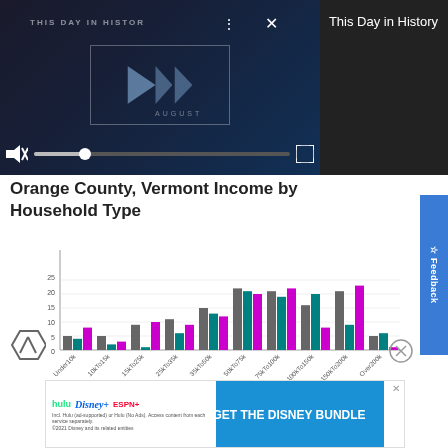[Figure (screenshot): Video player showing 'This Day in History' with playback controls, mute button, progress bar, and fullscreen icon on dark background]
This Day in History
Orange County, Vermont Income by Household Type
[Figure (grouped-bar-chart): Orange County, Vermont Income by Household Type]
[Figure (screenshot): Disney Bundle advertisement banner showing Hulu, Disney+, and ESPN+ logos with text 'GET THE DISNEY BUNDLE']